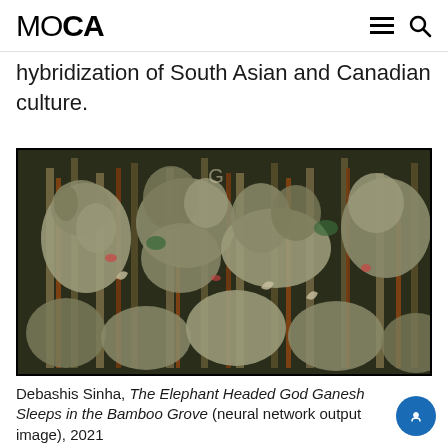MOCA
hybridization of South Asian and Canadian culture.
[Figure (photo): Dense, intricate artwork showing elephant-headed figures (Ganesh) sleeping among bamboo grove-like structures, with layered sculptural forms in green and earth tones.]
Debashis Sinha, The Elephant Headed God Ganesh Sleeps in the Bamboo Grove (neural network output image), 2021